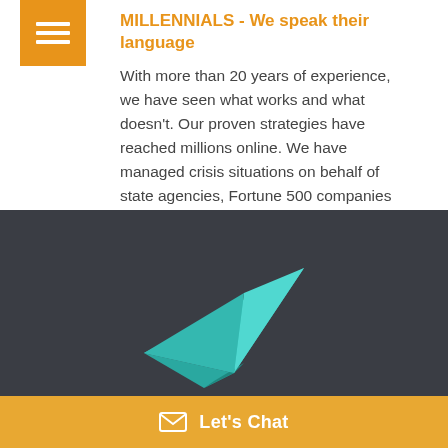MILLENNIALS - We speak their language
With more than 20 years of experience, we have seen what works and what doesn't. Our proven strategies have reached millions online. We have managed crisis situations on behalf of state agencies, Fortune 500 companies and politicians.
[Figure (illustration): Teal/turquoise paper airplane icon on dark background]
Let's Chat